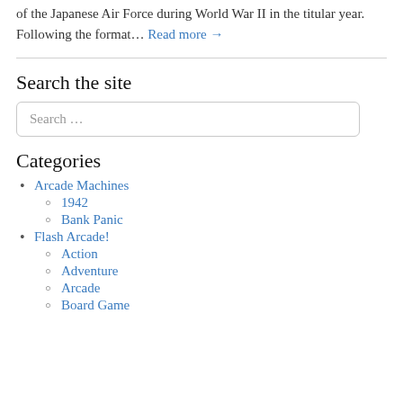out. You play an American pilot pitted against the whole of the Japanese Air Force during World War II in the titular year. Following the format… Read more →
Search the site
Search ...
Categories
Arcade Machines
1942
Bank Panic
Flash Arcade!
Action
Adventure
Arcade
Board Game